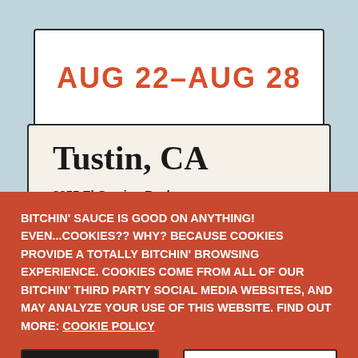AUG 22–AUG 28
Tustin, CA
2655 El Camino Real
BITCHIN' SAUCE IS GOOD ON ANYTHING! EVEN...COOKIES?? WHY? BECAUSE COOKIES PROVIDE A TOTALLY BITCHIN' BROWSING EXPERIENCE. COOKIES COME FROM ALL OF OUR BITCHIN' THIRD PARTY SOCIAL MEDIA WEBSITES, AND MAY ANALYZE YOUR USE OF THIS WEBSITE. FIND OUT MORE: COOKIE POLICY
DENY COOKIES
ACCEPT ALL COOKIES